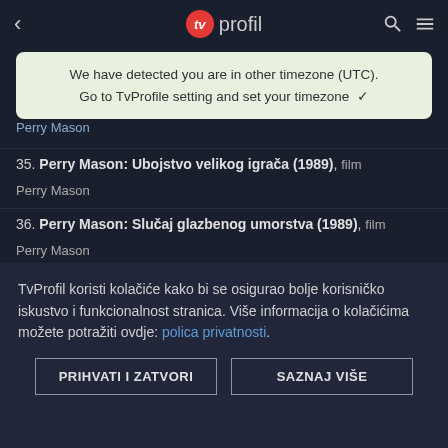[Figure (screenshot): TvProfil app navigation bar with back arrow, red TV logo, 'profil' text, search icon, and hamburger menu]
We have detected you are in other timezone (UTC). Go to TvProfile setting and set your timezone ✓
34. Perry Mason: Slučaj žene u jezeru (1988) *** Perry Mason
35. Perry Mason: Ubojstvo velikog igrača (1989), film Perry Mason
36. Perry Mason: Slučaj glazbenog umorstva (1989), film Perry Mason
37. Perry Mason: The Case of the Lethal Lesson (1989), film
TvProfil koristi kolačiće kako bi se osigurao bolje korisničko iskustvo i funkcionalnost stranica. Više informacija o kolačićima možete potražiti ovdje: polica privatnosti.
PRIHVATI I ZATVORI
SAZNAJ VIŠE